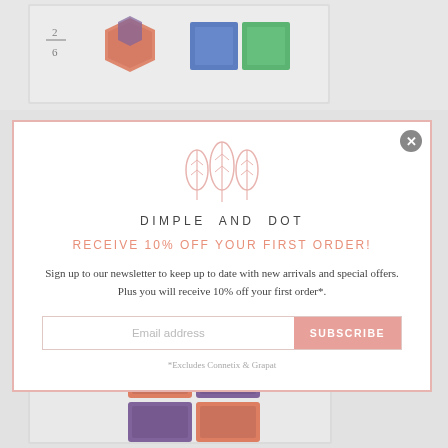[Figure (photo): Background image showing colorful math manipulatives (hexagon shapes and square tiles in orange, purple, blue, green) with a fraction 2/6 visible]
[Figure (logo): Dimple and Dot logo with three pink leaf/tree shapes above the brand name]
DIMPLE AND DOT
RECEIVE 10% OFF YOUR FIRST ORDER!
Sign up to our newsletter to keep up to date with new arrivals and special offers. Plus you will receive 10% off your first order*.
Email address
SUBSCRIBE
*Excludes Connetix & Grapat
[Figure (photo): Background image at bottom showing orange and purple square magnetic tiles arranged in a 2x2 grid]